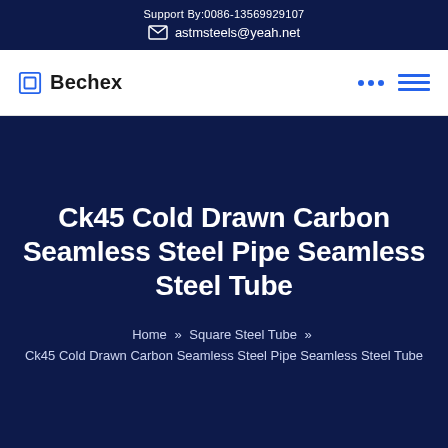Support By:0086-13569929107
astmsteels@yeah.net
Bechex
Ck45 Cold Drawn Carbon Seamless Steel Pipe Seamless Steel Tube
Home » Square Steel Tube » Ck45 Cold Drawn Carbon Seamless Steel Pipe Seamless Steel Tube